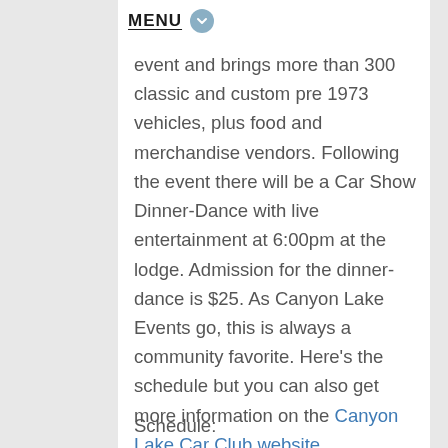MENU
event and brings more than 300 classic and custom pre 1973 vehicles, plus food and merchandise vendors.  Following the event there will be a Car Show Dinner-Dance with live entertainment at 6:00pm at the lodge.  Admission for the dinner-dance is $25.  As Canyon Lake Events go, this is always a community favorite.  Here's the schedule but you can also get more information on the Canyon Lake Car Club website.
Schedule: